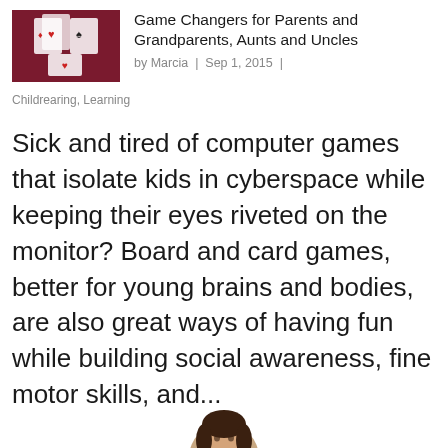[Figure (photo): Thumbnail image of playing cards arranged on a dark red background]
Game Changers for Parents and Grandparents, Aunts and Uncles
by Marcia | Sep 1, 2015 |
Childrearing, Learning
Sick and tired of computer games that isolate kids in cyberspace while keeping their eyes riveted on the monitor? Board and card games, better for young brains and bodies, are also great ways of having fun while building social awareness, fine motor skills, and...
[Figure (photo): Partial avatar/portrait photo of a person at the bottom of the page]